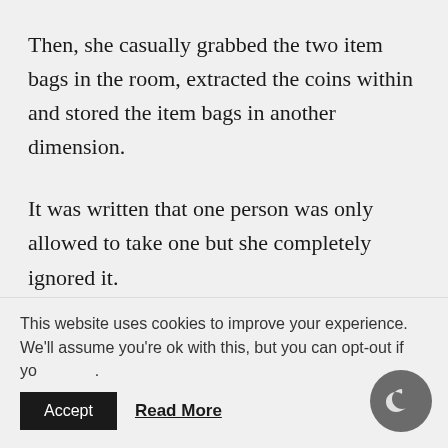Then, she casually grabbed the two item bags in the room, extracted the coins within and stored the item bags in another dimension.
It was written that one person was only allowed to take one but she completely ignored it.
(Even though he was suddenly thrown into a different world, how Onii dutifully followed the rules shows
This website uses cookies to improve your experience. We'll assume you're ok with this, but you can opt-out if you wish.
Accept   Read More